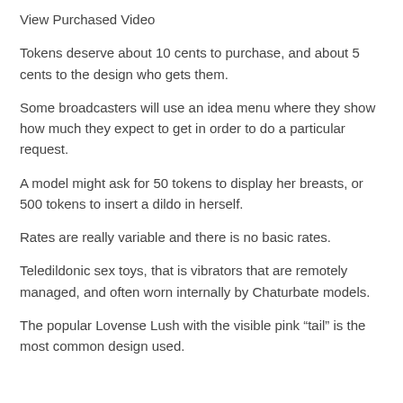View Purchased Video
Tokens deserve about 10 cents to purchase, and about 5 cents to the design who gets them.
Some broadcasters will use an idea menu where they show how much they expect to get in order to do a particular request.
A model might ask for 50 tokens to display her breasts, or 500 tokens to insert a dildo in herself.
Rates are really variable and there is no basic rates.
Teledildonic sex toys, that is vibrators that are remotely managed, and often worn internally by Chaturbate models.
The popular Lovense Lush with the visible pink “tail” is the most common design used.